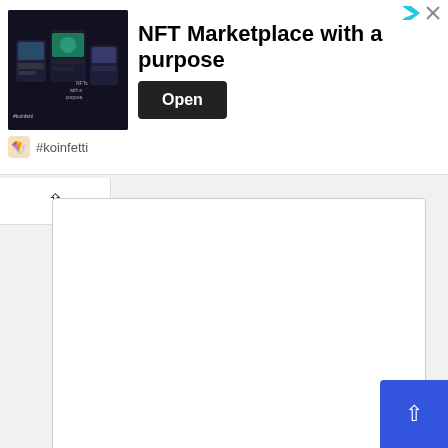[Figure (screenshot): NFT Marketplace with a purpose advertisement banner — dark image on left showing NFT marketplace app, bold text 'NFT Marketplace with a purpose', black Open button, #koinfetti handle at bottom, with close and sponsored icons top right.]
[Figure (screenshot): A collapsed UI panel showing a chevron/up-arrow button, a large empty white textarea with resize handle, a 'Name *' label, a white input box, and a blue back-to-top button in the bottom right corner.]